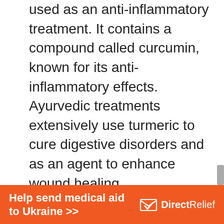used as an anti-inflammatory treatment. It contains a compound called curcumin, known for its anti-inflammatory effects. Ayurvedic treatments extensively use turmeric to cure digestive disorders and as an agent to enhance wound healing.

Turmeric offers ample benefits to your oral health as well, such as alleviating pain caused by sensitive teeth. All you have to do is massage ground turmeric on the affected region. An alternative would be creating a
[Figure (other): Orange advertisement banner for Direct Relief: 'Help send medical aid to Ukraine >>' with Direct Relief logo (white envelope icon with checkmark and organization name)]